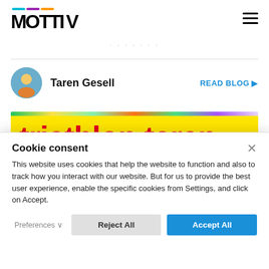MOTTIV
Taren Gesell  READ BLOG ▶
[Figure (screenshot): Triathlon Taren blog banner with yellow background and red bold text reading 'triathlon taren', with a rainbow gradient bar at the top and a photo of someone holding an American flag below.]
Cookie consent
This website uses cookies that help the website to function and also to track how you interact with our website. But for us to provide the best user experience, enable the specific cookies from Settings, and click on Accept.
Preferences ∨   Reject All   Accept All